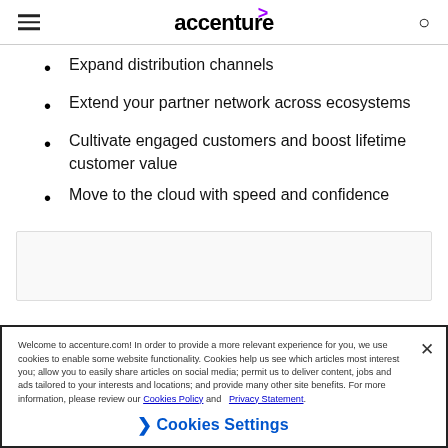accenture
Expand distribution channels
Extend your partner network across ecosystems
Cultivate engaged customers and boost lifetime customer value
Move to the cloud with speed and confidence
[Figure (other): Gray placeholder box (image or content block)]
Welcome to accenture.com! In order to provide a more relevant experience for you, we use cookies to enable some website functionality. Cookies help us see which articles most interest you; allow you to easily share articles on social media; permit us to deliver content, jobs and ads tailored to your interests and locations; and provide many other site benefits. For more information, please review our Cookies Policy and Privacy Statement.
❯ Cookies Settings